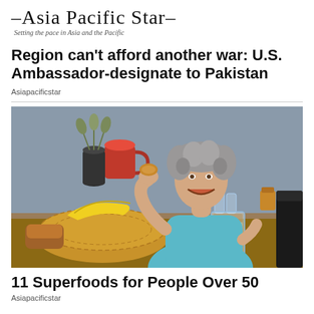–Asia Pacific Star– Setting the pace in Asia and the Pacific
Region can't afford another war: U.S. Ambassador-designate to Pakistan
Asiapacificstar
[Figure (photo): An older woman with grey curly hair, wearing a light blue top, laughing and holding a piece of food and a red mug, seated at a wooden table with a wicker basket of fruit including bananas, a glass French press, and various kitchen items in the background.]
11 Superfoods for People Over 50
Asiapacificstar